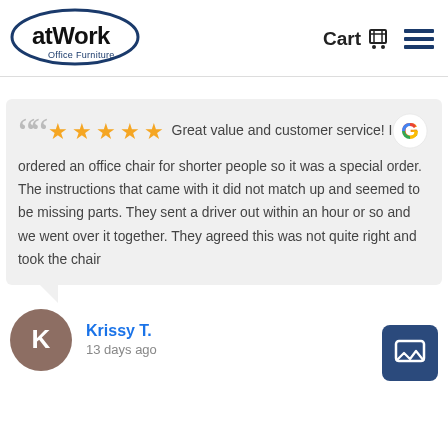[Figure (logo): atWork Office Furniture logo — dark blue oval with 'atWork' in bold black and 'Office Furniture' beneath in blue text]
Cart 🛒
Great value and customer service! I ordered an office chair for shorter people so it was a special order. The instructions that came with it did not match up and seemed to be missing parts. They sent a driver out within an hour or so and we went over it together. They agreed this was not quite right and took the chair
Krissy T.
13 days ago